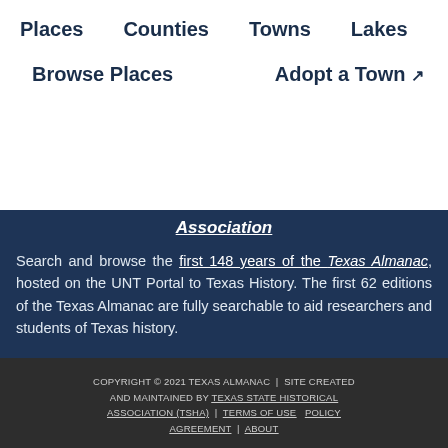Places  |  Counties  |  Towns  |  Lakes  |  Browse Places  |  Adopt a Town
Association
Search and browse the first 148 years of the Texas Almanac, hosted on the UNT Portal to Texas History. The first 62 editions of the Texas Almanac are fully searchable to aid researchers and students of Texas history.
COPYRIGHT © 2021 TEXAS ALMANAC | SITE CREATED AND MAINTAINED BY TEXAS STATE HISTORICAL ASSOCIATION (TSHA) | TERMS OF USE  POLICY AGREEMENT | ABOUT